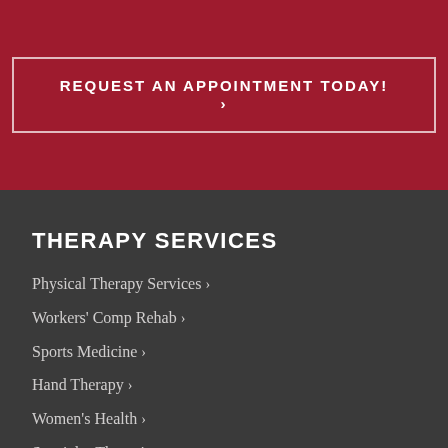REQUEST AN APPOINTMENT TODAY! ›
THERAPY SERVICES
Physical Therapy Services ›
Workers' Comp Rehab ›
Sports Medicine ›
Hand Therapy ›
Women's Health ›
Specialty Therapies ›